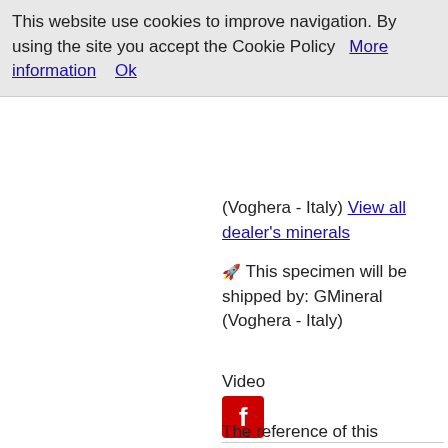This website use cookies to improve navigation. By using the site you accept the Cookie Policy   More information     Ok
(Voghera - Italy) View all dealer's minerals
🚀 This specimen will be shipped by: GMineral (Voghera - Italy)
Video
[Figure (logo): Adobe Flash Player red logo icon]
Bournonite, quartz and pyrite – Casapalca Mine – Casapalca – Huarochiri Prov. – Lima Deptm. – Peru (#GM22033)
The reference of this